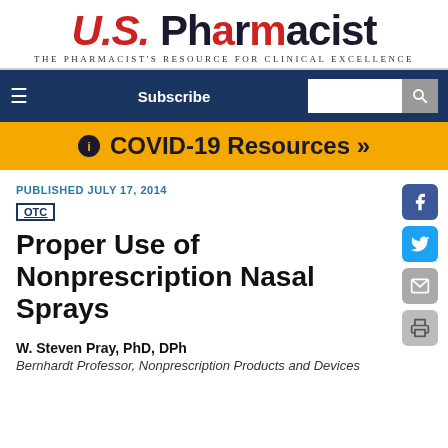[Figure (logo): U.S. Pharmacist logo with tagline 'The Pharmacist's Resource for Clinical Excellence']
[Figure (screenshot): Navigation bar with hamburger menu, Subscribe button, and search box on dark blue background]
[Figure (infographic): Yellow COVID-19 Resources banner with info icon and double chevron]
PUBLISHED JULY 17, 2014
OTC
Proper Use of Nonprescription Nasal Sprays
W. Steven Pray, PhD, DPh
Bernhardt Professor, Nonprescription Products and Devices